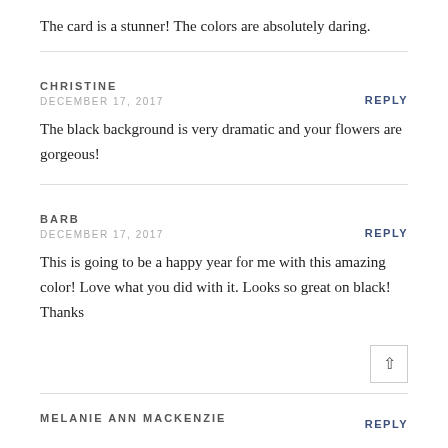The card is a stunner! The colors are absolutely daring.
REPLY
CHRISTINE
DECEMBER 17, 2017
The black background is very dramatic and your flowers are gorgeous!
REPLY
BARB
DECEMBER 17, 2017
This is going to be a happy year for me with this amazing color! Love what you did with it. Looks so great on black! Thanks
REPLY
MELANIE ANN MACKENZIE